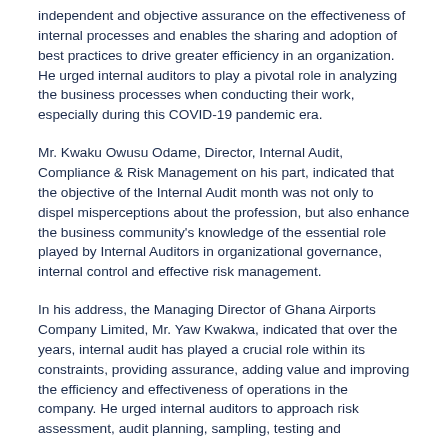independent and objective assurance on the effectiveness of internal processes and enables the sharing and adoption of best practices to drive greater efficiency in an organization. He urged internal auditors to play a pivotal role in analyzing the business processes when conducting their work, especially during this COVID-19 pandemic era.
Mr. Kwaku Owusu Odame, Director, Internal Audit, Compliance & Risk Management on his part, indicated that the objective of the Internal Audit month was not only to dispel misperceptions about the profession, but also enhance the business community's knowledge of the essential role played by Internal Auditors in organizational governance, internal control and effective risk management.
In his address, the Managing Director of Ghana Airports Company Limited, Mr. Yaw Kwakwa, indicated that over the years, internal audit has played a crucial role within its constraints, providing assurance, adding value and improving the efficiency and effectiveness of operations in the company. He urged internal auditors to approach risk assessment, audit planning, sampling, testing and